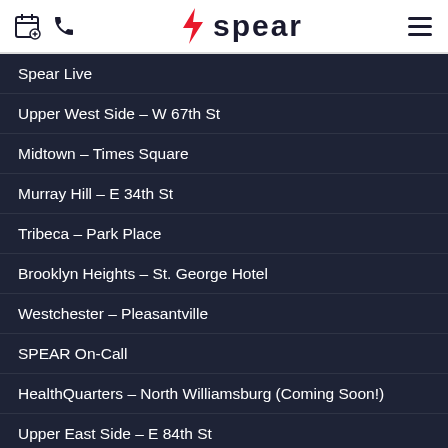Spear (logo with navigation icons)
Spear Live
Upper West Side – W 67th St
Midtown – Times Square
Murray Hill – E 34th St
Tribeca – Park Place
Brooklyn Heights – St. George Hotel
Westchester – Pleasantville
SPEAR On-Call
HealthQuarters – North Williamsburg (Coming Soon!)
Upper East Side – E 84th St
Midtown – Plaza Hotel
Midtown – W 44th St
Chelsea – 16th St
NoHo – Broadway
Brooklyn – Cobble Hill